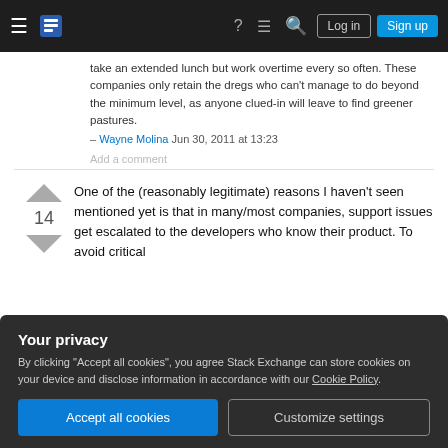Stack Exchange navigation bar with hamburger menu, logo, help, chat, search icons, Log in and Sign up buttons
take an extended lunch but work overtime every so often. These companies only retain the dregs who can't manage to do beyond the minimum level, as anyone clued-in will leave to find greener pastures.
– Wayne Molina Jun 30, 2011 at 13:23
Add a comment
One of the (reasonably legitimate) reasons I haven't seen mentioned yet is that in many/most companies, support issues get escalated to the developers who know their product. To avoid critical
14
Your privacy
By clicking "Accept all cookies", you agree Stack Exchange can store cookies on your device and disclose information in accordance with our Cookie Policy.
Accept all cookies
Customize settings
the morning (due to timezone issues - we had